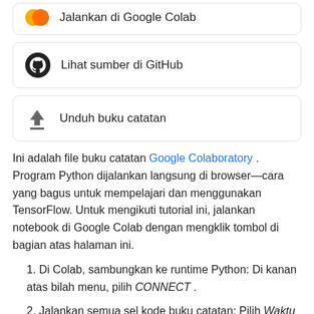[Figure (logo): Partial top card with Google Colab logo and truncated text 'Jalankan di Google Colab']
[Figure (logo): Card with GitHub logo (black circle with Octocat) and text 'Lihat sumber di GitHub']
[Figure (logo): Card with download arrow icon and text 'Unduh buku catatan']
Ini adalah file buku catatan Google Colaboratory . Program Python dijalankan langsung di browser—cara yang bagus untuk mempelajari dan menggunakan TensorFlow. Untuk mengikuti tutorial ini, jalankan notebook di Google Colab dengan mengklik tombol di bagian atas halaman ini.
Di Colab, sambungkan ke runtime Python: Di kanan atas bilah menu, pilih CONNECT .
Jalankan semua sel kode buku catatan: Pilih Waktu Proses > Jalankan semua .